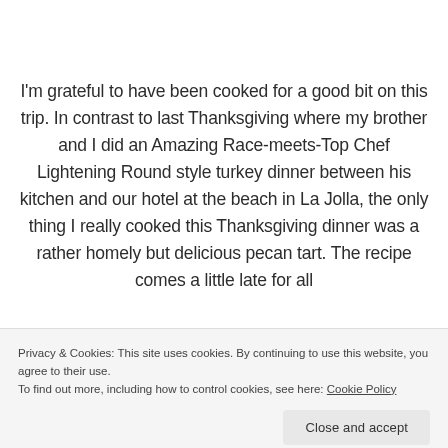I'm grateful to have been cooked for a good bit on this trip. In contrast to last Thanksgiving where my brother and I did an Amazing Race-meets-Top Chef Lightening Round style turkey dinner between his kitchen and our hotel at the beach in La Jolla, the only thing I really cooked this Thanksgiving dinner was a rather homely but delicious pecan tart. The recipe comes a little late for all
Privacy & Cookies: This site uses cookies. By continuing to use this website, you agree to their use.
To find out more, including how to control cookies, see here: Cookie Policy
Close and accept
[Figure (photo): Dark photo strip at the bottom of the page, appears to show outdoor/nature scene]